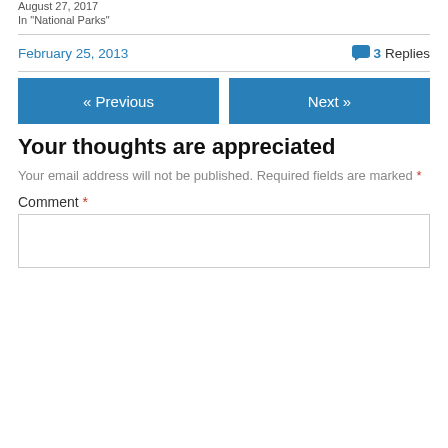August 27, 2017
In "National Parks"
February 25, 2013
3 Replies
« Previous
Next »
Your thoughts are appreciated
Your email address will not be published. Required fields are marked *
Comment *